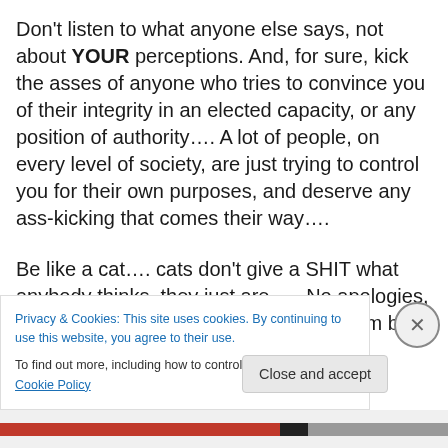Don't listen to what anyone else says, not about YOUR perceptions. And, for sure, kick the asses of anyone who tries to convince you of their integrity in an elected capacity, or any position of authority…. A lot of people, on every level of society, are just trying to control you for their own purposes, and deserve any ass-kicking that comes their way….
Be like a cat…. cats don't give a SHIT what anybody thinks, they just are….. No apologies, no fuss, just leave me alone, because I'm busy being a cat…. This is good
Privacy & Cookies: This site uses cookies. By continuing to use this website, you agree to their use.
To find out more, including how to control cookies, see here: Cookie Policy
Close and accept